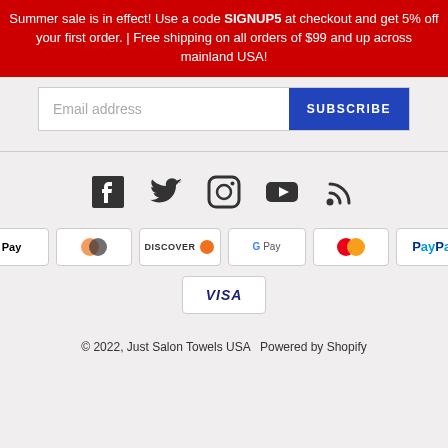Summer sale is in effect! Use a code SIGNUP5 at checkout and get 5% off your first order. | Free shipping on all orders of $99 and up across mainland USA!
Email address  SUBSCRIBE
[Figure (infographic): Social media icons row: Facebook, Twitter, Instagram, YouTube, RSS]
[Figure (infographic): Payment method badges: AMEX, Apple Pay, Diners Club, Discover, Google Pay, Mastercard, PayPal, Shopify Pay, Visa]
© 2022, Just Salon Towels USA  Powered by Shopify